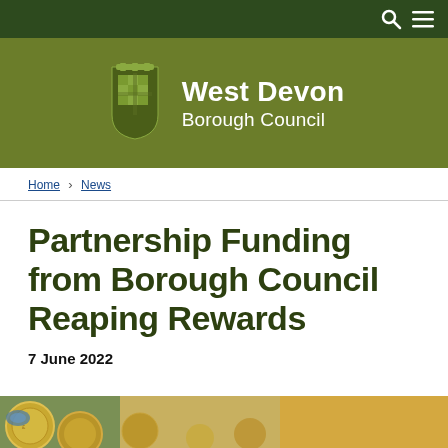West Devon Borough Council
Home › News
Partnership Funding from Borough Council Reaping Rewards
7 June 2022
[Figure (photo): Close-up photo of coins, partially visible at the bottom of the page]